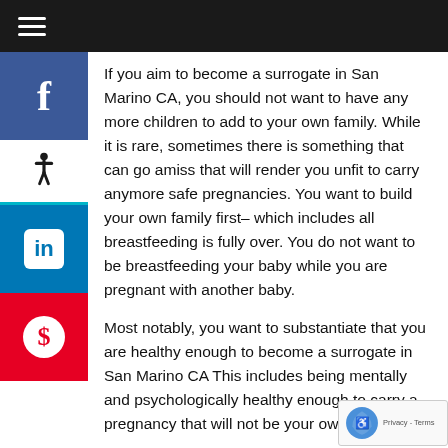If you aim to become a surrogate in San Marino CA, you should not want to have any more children to add to your own family. While it is rare, sometimes there is something that can go amiss that will render you unfit to carry anymore safe pregnancies. You want to build your own family first– which includes all breastfeeding is fully over. You do not want to be breastfeeding your baby while you are pregnant with another baby.
Most notably, you want to substantiate that you are healthy enough to become a surrogate in San Marino CA This includes being mentally and psychologically healthy enough to carry a pregnancy that will not be your own.
You will be assessed and investigated by medical professionals that are the best in the business, but only you can honestly tell whether or not you will mentally or